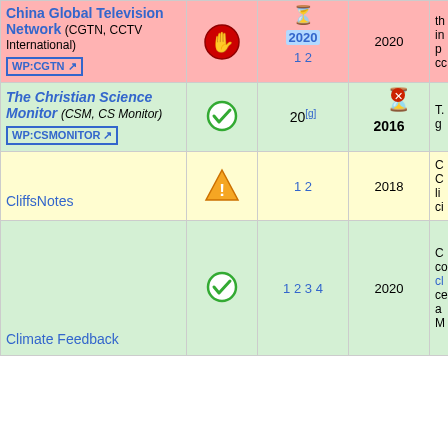| Source | Reliability | Refs | Year | Notes |
| --- | --- | --- | --- | --- |
| China Global Television Network (CGTN, CCTV International)
WP:CGTN | no | 2020
1 2 | 2020 | th in p cc |
| The Christian Science Monitor (CSM, CS Monitor)
WP:CSMONITOR | yes | 20[g] | 2016 | T. g |
| CliffsNotes | caution | 1 2 | 2018 | C C li ci |
| Climate Feedback | yes | 1 2 3 4 | 2020 | C co cl ce a M |